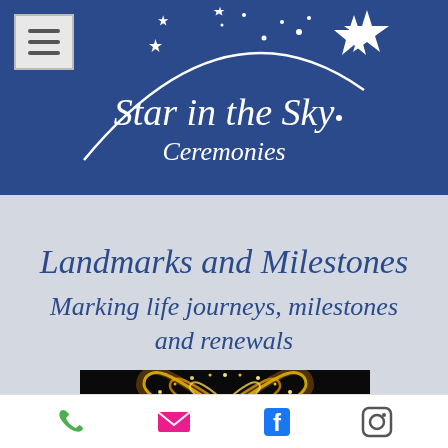[Figure (logo): Star in the Sky Ceremonies logo on dark blue banner with stars and arc graphic, plus hamburger menu icon top left]
Landmarks and Milestones
Marking life journeys, milestones and renewals
[Figure (photo): Glowing heart shape made of fairy lights against a dark background]
Phone, Email, Facebook, Instagram icons